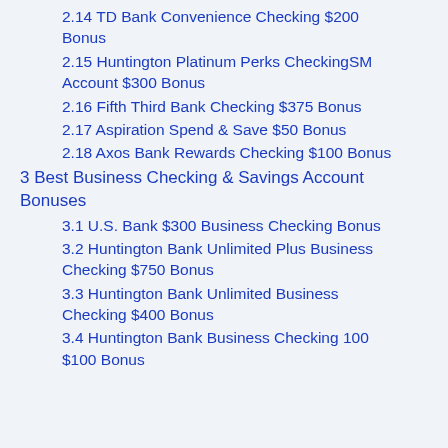2.14 TD Bank Convenience Checking $200 Bonus
2.15 Huntington Platinum Perks CheckingSM Account $300 Bonus
2.16 Fifth Third Bank Checking $375 Bonus
2.17 Aspiration Spend & Save $50 Bonus
2.18 Axos Bank Rewards Checking $100 Bonus
3 Best Business Checking & Savings Account Bonuses
3.1 U.S. Bank $300 Business Checking Bonus
3.2 Huntington Bank Unlimited Plus Business Checking $750 Bonus
3.3 Huntington Bank Unlimited Business Checking $400 Bonus
3.4 Huntington Bank Business Checking 100 $100 Bonus